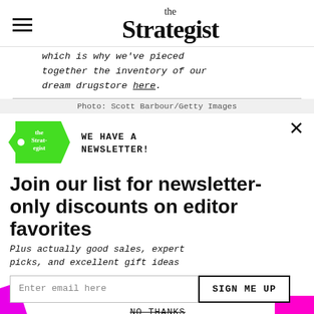the Strategist
which is why we've pieced together the inventory of our dream drugstore here.
Photo: Scott Barbour/Getty Images
[Figure (logo): The Strategist green tag logo]
WE HAVE A NEWSLETTER!
Join our list for newsletter-only discounts on editor favorites
Plus actually good sales, expert picks, and excellent gift ideas
Enter email here
SIGN ME UP
NO THANKS